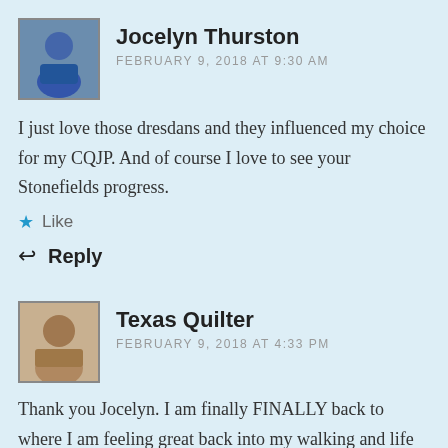Jocelyn Thurston
FEBRUARY 9, 2018 AT 9:30 AM
I just love those dresdans and they influenced my choice for my CQJP. And of course I love to see your Stonefields progress.
Like
Reply
Texas Quilter
FEBRUARY 9, 2018 AT 4:33 PM
Thank you Jocelyn. I am finally FINALLY back to where I am feeling great back into my walking and life and trying to catch up with projects. What is CQJP? Suz'n Quilts has some real cute patterns for those Dresdons.